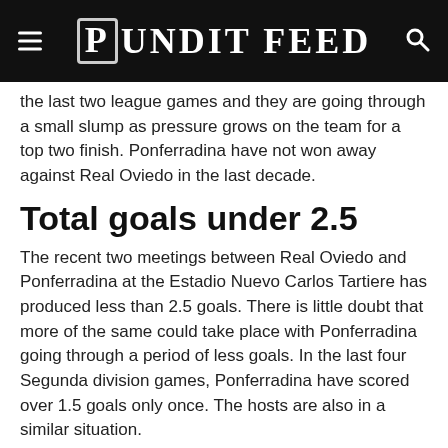Pundit Feed
the last two league games and they are going through a small slump as pressure grows on the team for a top two finish. Ponferradina have not won away against Real Oviedo in the last decade.
Total goals under 2.5
The recent two meetings between Real Oviedo and Ponferradina at the Estadio Nuevo Carlos Tartiere has produced less than 2.5 goals. There is little doubt that more of the same could take place with Ponferradina going through a period of less goals. In the last four Segunda division games, Ponferradina have scored over 1.5 goals only once. The hosts are also in a similar situation.
Goals from both teams – no
Even though Ponferradina have scored in five consecutive league matches, Real Oviedo do not